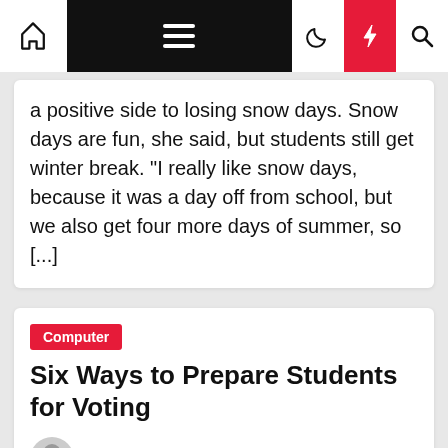Navigation bar with home, menu, dark mode, lightning, and search icons
a positive side to losing snow days. Snow days are fun, she said, but students still get winter break. "I really like snow days, because it was a day off from school, but we also get four more days of summer, so [...]
Computer
Six Ways to Prepare Students for Voting
Destiny Viator  2 years ago
Six Ways to Prepare Students for Voting